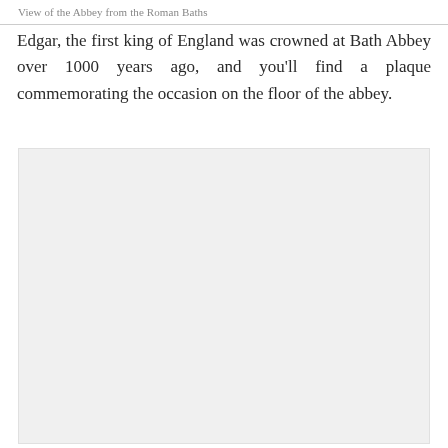View of the Abbey from the Roman Baths
Edgar, the first king of England was crowned at Bath Abbey over 1000 years ago, and you’ll find a plaque commemorating the occasion on the floor of the abbey.
[Figure (photo): Photograph placeholder showing view of Bath Abbey from the Roman Baths]